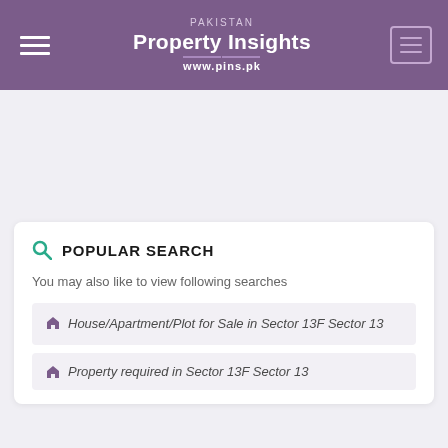PAKISTAN Property Insights www.pins.pk
POPULAR SEARCH
You may also like to view following searches
House/Apartment/Plot for Sale in Sector 13F Sector 13
Property required in Sector 13F Sector 13